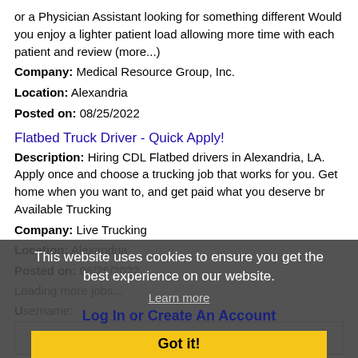or a Physician Assistant looking for something different Would you enjoy a lighter patient load allowing more time with each patient and review (more...)
Company: Medical Resource Group, Inc.
Location: Alexandria
Posted on: 08/25/2022
Flatbed Truck Driver - Quick Apply!
Description: Hiring CDL Flatbed drivers in Alexandria, LA. Apply once and choose a trucking job that works for you. Get home when you want to, and get paid what you deserve br Available Trucking
Company: Live Trucking
Location: Alexandria
Posted on: 08/25/2022
Loading more jobs...
This website uses cookies to ensure you get the best experience on our website.
Learn more
Log In or Create An Account
Got it!
Username: